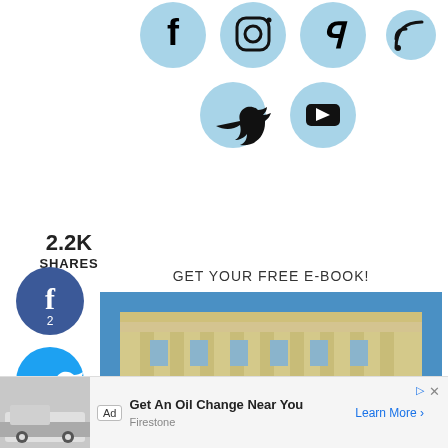[Figure (infographic): Social media icon buttons in light blue circles: Facebook, Instagram, Pinterest, RSS on top row; Twitter and YouTube on second row]
2.2K
SHARES
[Figure (infographic): Left sidebar social share buttons: Facebook (blue circle, count 2), Twitter (light blue circle), Pinterest (red circle, count 2.2K), Yummly (orange circle)]
GET YOUR FREE E-BOOK!
[Figure (photo): Photo of a large classical university building with columns, blue sky. Overlay text at bottom reads 'EASY COLLEGE DINNER WEEKLY MEAL PLANNER']
[Figure (infographic): Advertisement bar at bottom: Ad label, car service station image, text 'Get An Oil Change Near You', brand 'Firestone', call-to-action 'Learn More >']